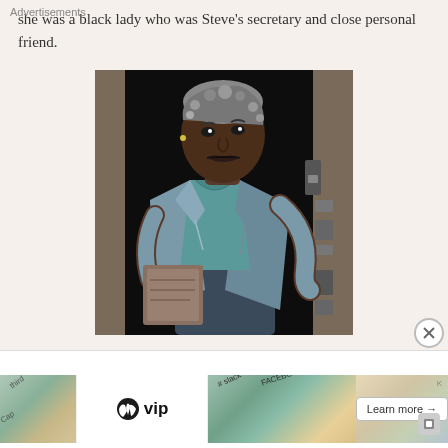she was a black lady who was Steve's secretary and close personal friend.
[Figure (illustration): Comic-style illustration of a Black woman with short gray hair, wearing a light blue/teal blazer and top, holding a folder/clipboard, opening or standing at a doorway in a dark setting.]
Advertisements
[Figure (other): WordPress VIP advertisement banner with colorful background elements showing slack, Facebook logos and 'Learn more →' button.]